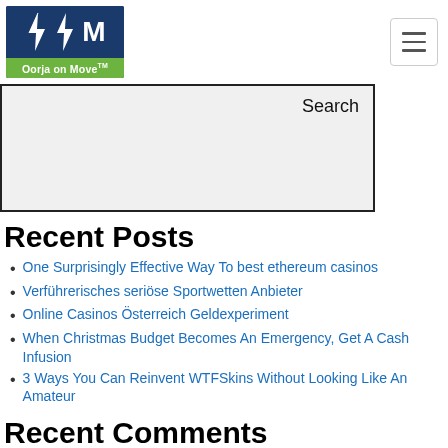[Figure (logo): Oorja on Move logo: dark blue background with two lightning bolt icons and letter M, green bar at bottom reading 'Oorja on Move TM']
[Figure (other): Hamburger menu icon: three horizontal lines in a rounded rectangle border]
[Figure (other): Search input box, grey background with black border, label 'Search' at top right]
Recent Posts
One Surprisingly Effective Way To best ethereum casinos
Verführerisches seriöse Sportwetten Anbieter
Online Casinos Österreich Geldexperiment
When Christmas Budget Becomes An Emergency, Get A Cash Infusion
3 Ways You Can Reinvent WTFSkins Without Looking Like An Amateur
Recent Comments